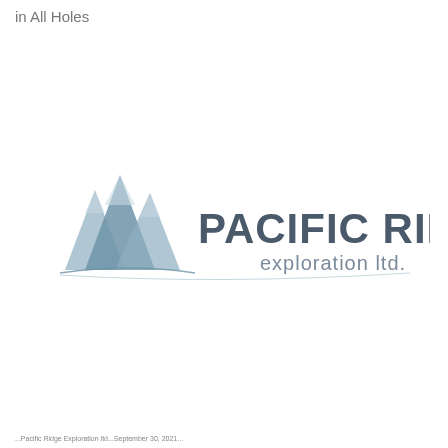in All Holes
[Figure (logo): Pacific Ridge Exploration Ltd. logo with stylized mountain peaks graphic on the left and company name text on the right]
...Pacific Ridge Exploration ltd...September 30, 2021...